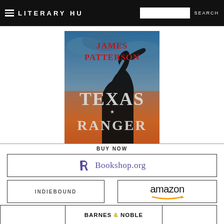LITERARY HU  SEARCH
[Figure (illustration): Book cover for 'Texas Ranger' by James Patterson. Dark blue-orange background with silhouette of person holding a gun. Title 'TEXAS RANGER' in large white serif text, author name 'JAMES PATTERSON' in red text at top.]
BUY NOW
Bookshop.org
INDIEBOUND
amazon
BARNES & NOBLE